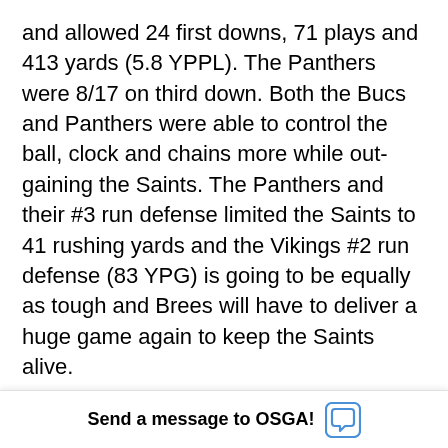and allowed 24 first downs, 71 plays and 413 yards (5.8 YPPL). The Panthers were 8/17 on third down. Both the Bucs and Panthers were able to control the ball, clock and chains more while out-gaining the Saints. The Panthers and their #3 run defense limited the Saints to 41 rushing yards and the Vikings #2 run defense (83 YPG) is going to be equally as tough and Brees will have to deliver a huge game again to keep the Saints alive.
Now the Vikings, with their superior defense at home and rested, filled with talented playmakers and led by an instinctive difference-maker Harrison Smith at safety again as the lo...
Send a message to OSGA!